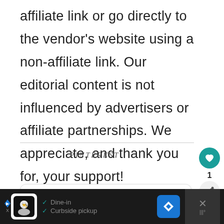affiliate link or go directly to the vendor's website using a non-affiliate link. Our editorial content is not influenced by advertisers or affiliate partnerships. We appreciate, and thank you for, your support!
PINTEREST
1
Posh in Progress | Dr. Stacey V...
✓ Dine-in  ✓ Curbside pickup